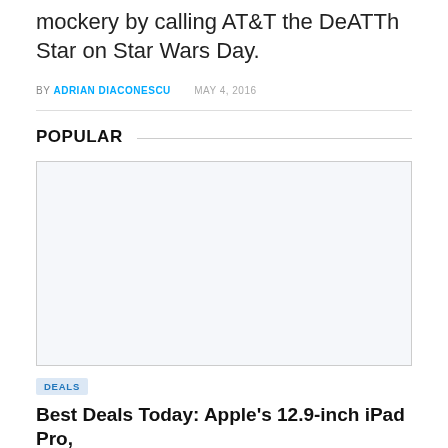mockery by calling AT&T the DeATTh Star on Star Wars Day.
BY ADRIAN DIACONESCU   MAY 4, 2016
POPULAR
[Figure (other): Advertisement placeholder box, light blue-gray background with border]
DEALS
Best Deals Today: Apple's 12.9-inch iPad Pro,